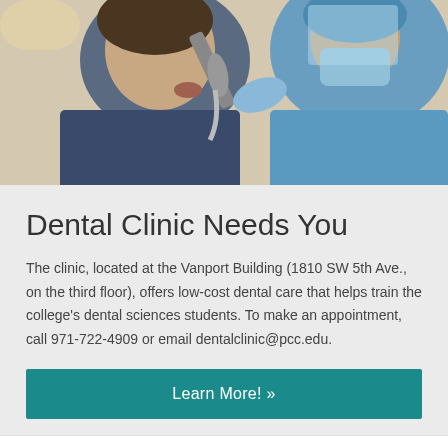[Figure (photo): Dental clinic photo showing a patient receiving dental care from a student practitioner wearing blue scrubs, mask, gloves, and face shield, using dental equipment.]
Dental Clinic Needs You
The clinic, located at the Vanport Building (1810 SW 5th Ave., on the third floor), offers low-cost dental care that helps train the college's dental sciences students. To make an appointment, call 971-722-4909 or email dentalclinic@pcc.edu.
Learn More! »
As a result of the donation, the third floor of the Vanport